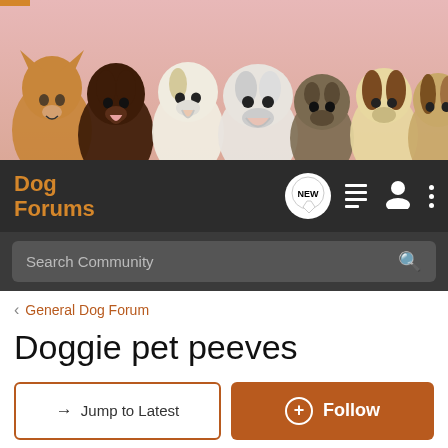[Figure (photo): Banner image showing multiple dog breeds: corgi, chocolate labrador, jack russell, bulldog, pug, beagle, and basset hound lined up against a pink/peach background]
[Figure (screenshot): Dog Forums navigation bar with logo, NEW badge, list icon, person icon, and three-dot menu on dark background]
[Figure (screenshot): Search Community search bar on dark background]
< General Dog Forum
Doggie pet peeves
→ Jump to Latest
+ Follow
1 - 6 of 6 Posts
Britt Caleb & Enzo · Registered
Joined Mar 28, 2009 · 226 Posts